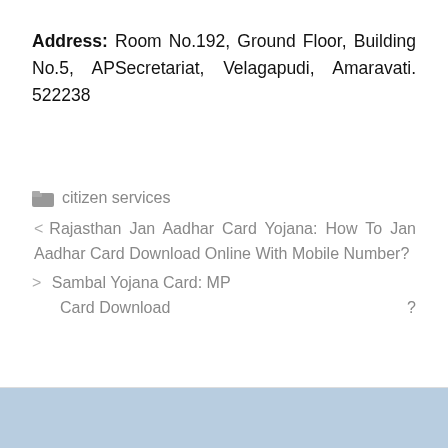Address: Room No.192, Ground Floor, Building No.5, APSecretariat, Velagapudi, Amaravati. 522238
citizen services
< Rajasthan Jan Aadhar Card Yojana: How To Jan Aadhar Card Download Online With Mobile Number?
> Sambal Yojana Card: MP Card Download ?